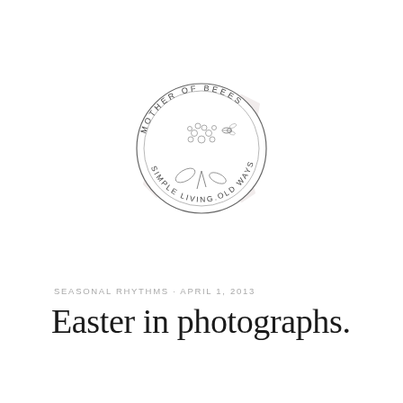[Figure (logo): Mother of Beees circular stamp logo with floral and bee illustration in the center, text reading MOTHER OF BEEES on top arc and SIMPLE LIVING.OLD WAYS on bottom arc, with a faded pink/mauve paint stroke behind it]
SEASONAL RHYTHMS · APRIL 1, 2013
Easter in photographs.